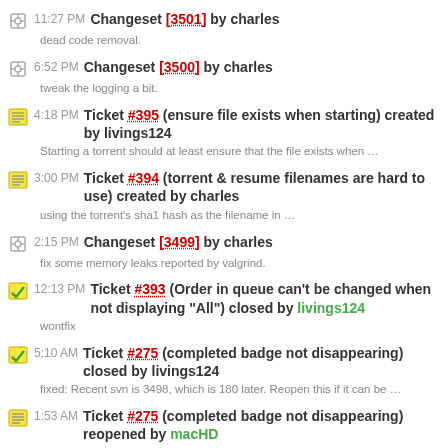11:27 PM Changeset [3501] by charles
dead code removal.
6:52 PM Changeset [3500] by charles
tweak the logging a bit.
4:18 PM Ticket #395 (ensure file exists when starting) created by livings124
Starting a torrent should at least ensure that the file exists when …
3:00 PM Ticket #394 (torrent & resume filenames are hard to use) created by charles
using the torrent's sha1 hash as the filename in …
2:15 PM Changeset [3499] by charles
fix some memory leaks reported by valgrind.
12:13 PM Ticket #393 (Order in queue can't be changed when not displaying "All") closed by livings124
wontfix
5:10 AM Ticket #275 (completed badge not disappearing) closed by livings124
fixed: Recent svn is 3498, which is 180 later. Reopen this if it can be …
1:53 AM Ticket #275 (completed badge not disappearing) reopened by macHD
I've been able to reproduce this with a recent svn co. (3318) on …